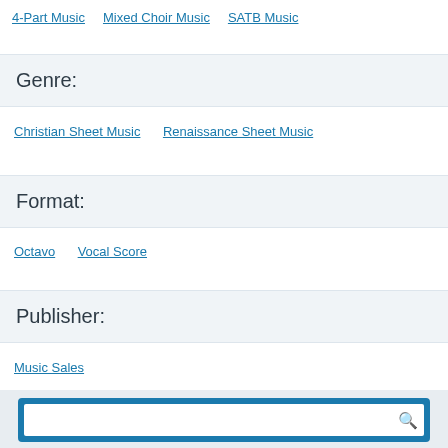4-Part Music   Mixed Choir Music   SATB Music
Genre:
Christian Sheet Music   Renaissance Sheet Music
Format:
Octavo   Vocal Score
Publisher:
Music Sales
Easy Rebates
Have a Website?